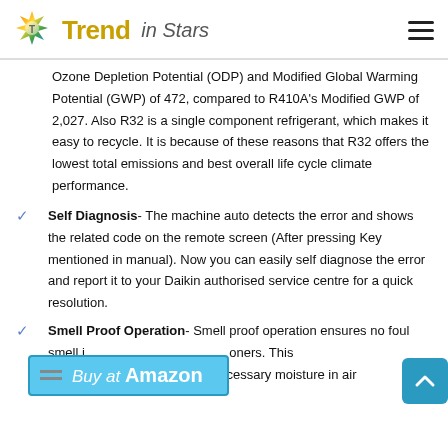Trend in Stars
Ozone Depletion Potential (ODP) and Modified Global Warming Potential (GWP) of 472, compared to R410A's Modified GWP of 2,027. Also R32 is a single component refrigerant, which makes it easy to recycle. It is because of these reasons that R32 offers the lowest total emissions and best overall life cycle climate performance.
Self Diagnosis- The machine auto detects the error and shows the related code on the remote screen (After pressing Key mentioned in manual). Now you can easily self diagnose the error and report it to your Daikin authorised service centre for a quick resolution.
Smell Proof Operation- Smell proof operation ensures no foul smell in air conditioners. This feature helps in removing unnecessary moisture in air